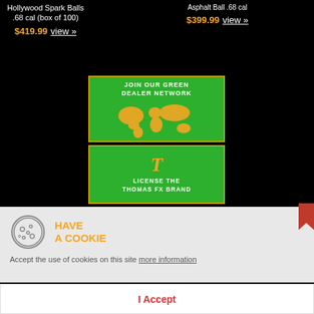Hollywood Spark Balls .68 cal (box of 100)
$419.99 view »
$399.99 view »
[Figure (illustration): Green banner with text JOIN OUR GREEN DEALER NETWORK and orange world map graphic]
[Figure (illustration): Green banner with italic T logo and text LICENSE THE THOMAS FX BRAND]
[Figure (illustration): Faded green banner with world map and text FIND A GREEN DEALER]
HAVE A COOKIE
Accept the use of cookies on this site more information
I Accept